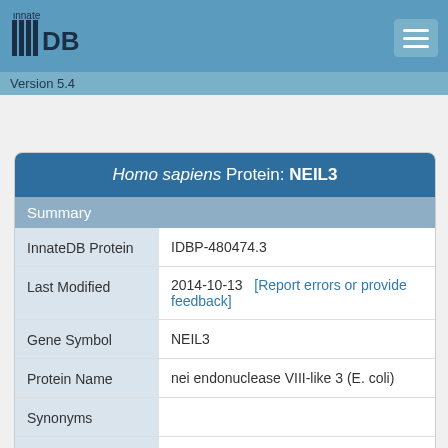InnateDB Version 5.4
Homo sapiens Protein: NEIL3
Summary
| Field | Value |
| --- | --- |
| InnateDB Protein | IDBP-480474.3 |
| Last Modified | 2014-10-13   [Report errors or provide feedback] |
| Gene Symbol | NEIL3 |
| Protein Name | nei endonuclease VIII-like 3 (E. coli) |
| Synonyms |  |
| Species | Homo sapiens |
| Ensembl Protein | ENSP00000424735 |